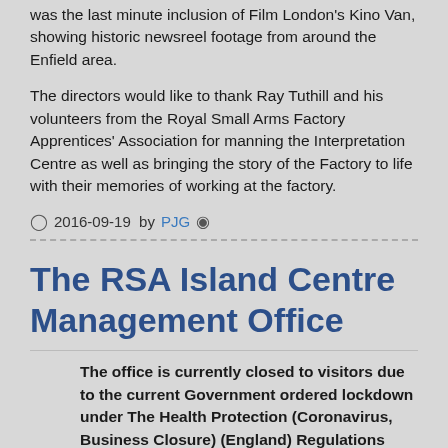was the last minute inclusion of Film London's Kino Van, showing historic newsreel footage from around the Enfield area.
The directors would like to thank Ray Tuthill and his volunteers from the Royal Small Arms Factory Apprentices' Association for manning the Interpretation Centre as well as bringing the story of the Factory to life with their memories of working at the factory.
2016-09-19  by PJG
The RSA Island Centre Management Office
The office is currently closed to visitors due to the current Government ordered lockdown under The Health Protection (Coronavirus, Business Closure) (England) Regulations 2020. The Estate Management Team are available to assist you via e-mail. As stated below, rude and aggressive